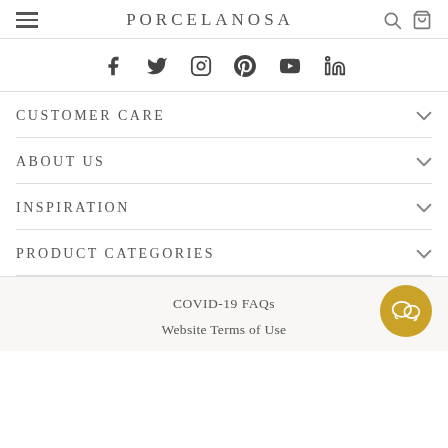PORCELANOSA
[Figure (other): Social media icons row: Facebook, Twitter, Instagram, Pinterest, YouTube, LinkedIn]
CUSTOMER CARE
ABOUT US
INSPIRATION
PRODUCT CATEGORIES
COVID-19 FAQs
Website Terms of Use